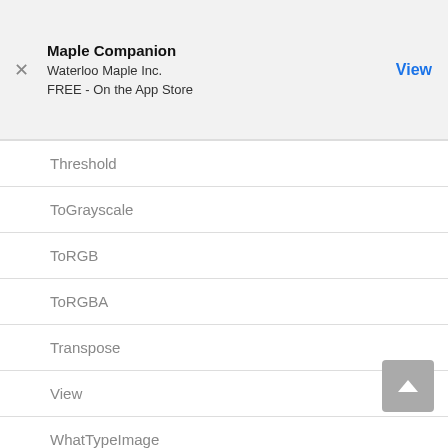Maple Companion
Waterloo Maple Inc.
FREE - On the App Store
Threshold
ToGrayscale
ToRGB
ToRGBA
Transpose
View
WhatTypeImage
Width
Write